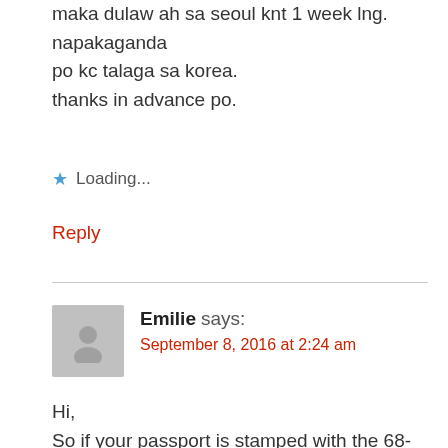maka dulaw ah sa seoul knt 1 week lng. napakaganda po kc talaga sa korea.
thanks in advance po.
★ Loading...
Reply
Emilie says:
September 8, 2016 at 2:24 am
Hi,
So if your passport is stamped with the 68-(1), how long to do you have until you can re-enter the country again? Thank you